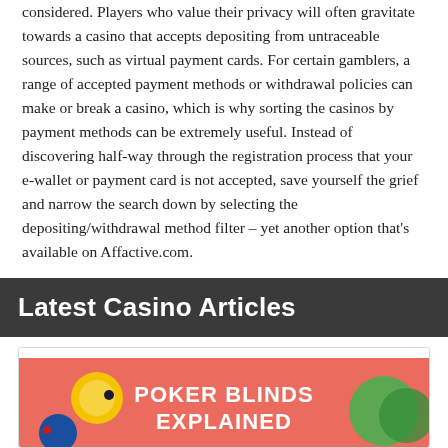considered. Players who value their privacy will often gravitate towards a casino that accepts depositing from untraceable sources, such as virtual payment cards. For certain gamblers, a range of accepted payment methods or withdrawal policies can make or break a casino, which is why sorting the casinos by payment methods can be extremely useful. Instead of discovering half-way through the registration process that your e-wallet or payment card is not accepted, save yourself the grief and narrow the search down by selecting the depositing/withdrawal method filter – yet another option that's available on Affactive.com.
Latest Casino Articles
[Figure (illustration): Colorful illustration with a coral/pink background showing poker chip decorative elements and the text 'POKER BLINDS EXPLAINED' in bold white capital letters.]